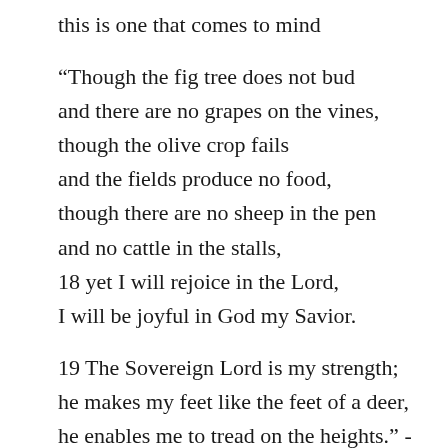this is one that comes to mind
“Though the fig tree does not bud and there are no grapes on the vines, though the olive crop fails and the fields produce no food, though there are no sheep in the pen and no cattle in the stalls, 18 yet I will rejoice in the Lord, I will be joyful in God my Savior.
19 The Sovereign Lord is my strength; he makes my feet like the feet of a deer, he enables me to tread on the heights.” - Habakkuk 3:17-19